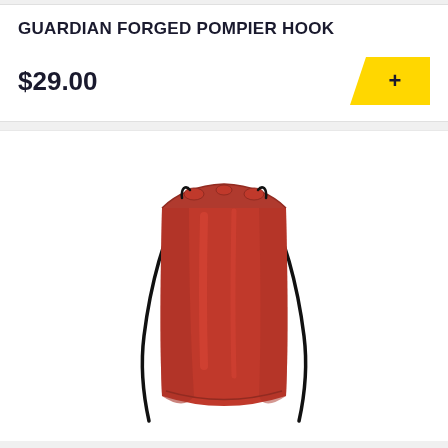GUARDIAN FORGED POMPIER HOOK
$29.00
[Figure (photo): Red drawstring bag/backpack on white background, with black drawstring cords]